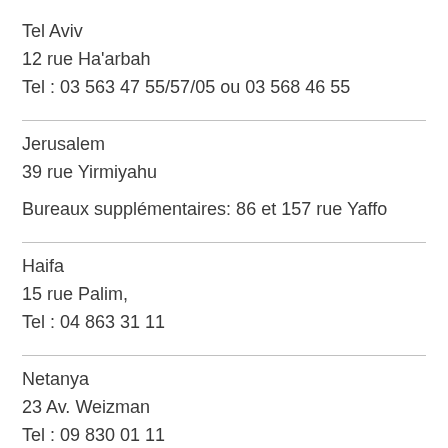Tel Aviv
12 rue Ha'arbah
Tel : 03 563 47 55/57/05 ou 03 568 46 55
Jerusalem
39 rue Yirmiyahu

Bureaux supplémentaires: 86 et 157 rue Yaffo
Haifa
15 rue Palim,
Tel : 04 863 31 11
Netanya
23 Av. Weizman
Tel : 09 830 01 11
Région Ashkelon
Hôpital Barzilai, Ashkelon